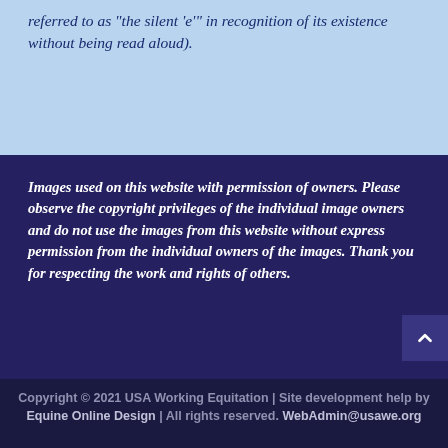referred to as "the silent 'e'" in recognition of its existence without being read aloud).
Images used on this website with permission of owners. Please observe the copyright privileges of the individual image owners and do not use the images from this website without express permission from the individual owners of the images. Thank you for respecting the work and rights of others.
Copyright © 2021 USA Working Equitation | Site development help by Equine Online Design | All rights reserved. WebAdmin@usawe.org
Share This